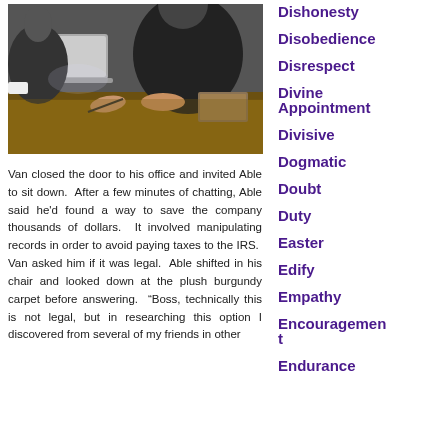[Figure (photo): Business meeting photo showing people sitting at a table with a laptop, hands visible on wooden table surface]
Van closed the door to his office and invited Able to sit down. After a few minutes of chatting, Able said he'd found a way to save the company thousands of dollars. It involved manipulating records in order to avoid paying taxes to the IRS. Van asked him if it was legal. Able shifted in his chair and looked down at the plush burgundy carpet before answering. “Boss, technically this is not legal, but in researching this option I discovered from several of my friends in other
Dishonesty
Disobedience
Disrespect
Divine Appointment
Divisive
Dogmatic
Doubt
Duty
Easter
Edify
Empathy
Encouragement
Endurance